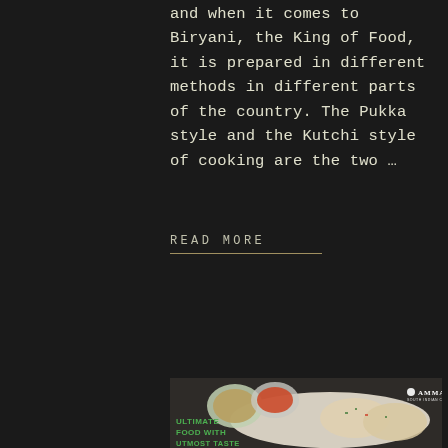and when it comes to Biryani, the King of Food, it is prepared in different methods in different parts of the country. The Pukka style and the Kutchi style of cooking are the two ...
READ MORE
[Figure (photo): Food photo showing South Indian cuisine on a white rectangular plate with bowls of sauce and chutney, on a dark background. AMMA'S logo visible. Text overlay: ULTIMATE FOOD WITH UTMOST TASTE]